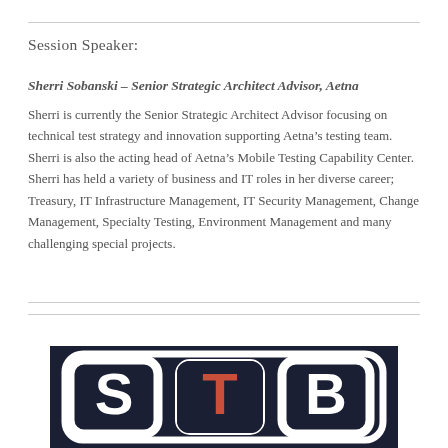Session Speaker:
Sherri Sobanski – Senior Strategic Architect Advisor, Aetna
Sherri is currently the Senior Strategic Architect Advisor focusing on technical test strategy and innovation supporting Aetna's testing team. Sherri is also the acting head of Aetna's Mobile Testing Capability Center. Sherri has held a variety of business and IT roles in her diverse career; Treasury, IT Infrastructure Management, IT Security Management, Change Management, Specialty Testing, Environment Management and many challenging special projects.
[Figure (logo): STB logo on dark navy background with large stylized letters S, T, B in white and red/orange colors]